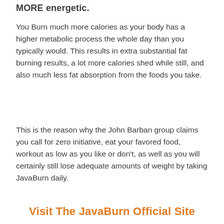MORE energetic.
You Burn much more calories as your body has a higher metabolic process the whole day than you typically would. This results in extra substantial fat burning results, a lot more calories shed while still, and also much less fat absorption from the foods you take.
This is the reason why the John Barban group claims you call for zero initiative, eat your favored food, workout as low as you like or don't, as well as you will certainly still lose adequate amounts of weight by taking JavaBurn daily.
Visit The JavaBurn Official Site